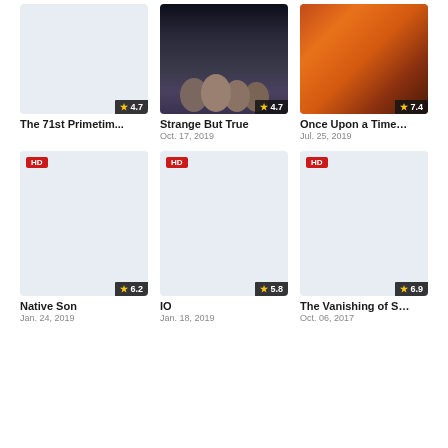[Figure (photo): Movie poster placeholder for The 71st Primetime Emmy Awards, light blue-gray background, rating badge 4.7]
The 71st Primetim...
[Figure (photo): Movie poster for Strange But True showing dark thriller faces, rating 4.7, date Oct. 17, 2019]
Strange But True
Oct. 17, 2019
[Figure (photo): Movie poster for Once Upon a Time in Hollywood, colorful action poster, rating 7.4, date Jul. 25, 2019]
Once Upon a Time...
Jul. 25, 2019
[Figure (photo): HD movie poster placeholder for Native Son, light blue-gray background, rating 6.2, date Jan. 24, 2019]
Native Son
Jan. 24, 2019
[Figure (photo): HD movie poster placeholder for IO, light blue-gray background, rating 5.8, date Jan. 18, 2019]
IO
Jan. 18, 2019
[Figure (photo): HD movie poster placeholder for The Vanishing of S..., light blue-gray background, rating 6.9, date Oct. 06, 2017]
The Vanishing of S...
Oct. 06, 2017